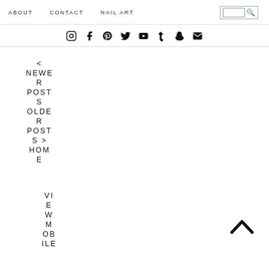ABOUT   CONTACT   NAIL ART
[Figure (infographic): Social media icons: Instagram, Facebook, Pinterest, Twitter, YouTube, Tumblr, Snapchat, Email]
< NEWER POSTS OLDER POSTS > HOME
VIEW MOBILE
[Figure (other): Back to top arrow (chevron up)]